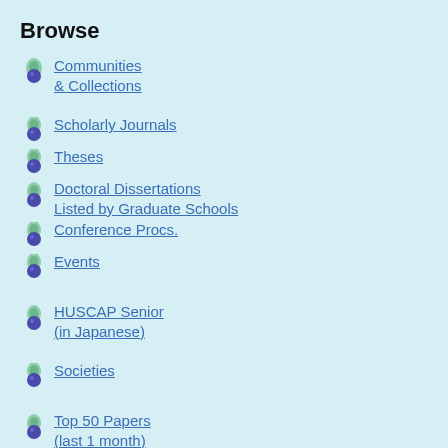Browse
Communities & Collections
Scholarly Journals
Theses
Doctoral Dissertations Listed by Graduate Schools
Conference Procs.
Events
HUSCAP Senior (in Japanese)
Societies
Top 50 Papers (last 1 month)
Downloads (country)